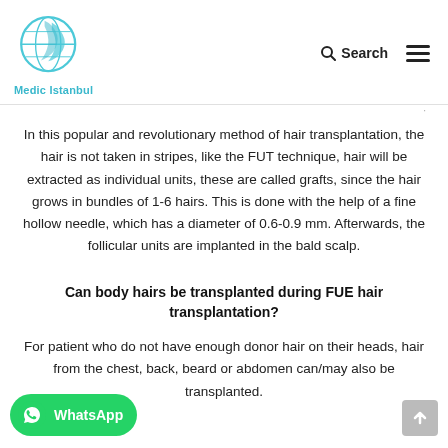Medic Istanbul | Search
In this popular and revolutionary method of hair transplantation, the hair is not taken in stripes, like the FUT technique, hair will be extracted as individual units, these are called grafts, since the hair grows in bundles of 1-6 hairs. This is done with the help of a fine hollow needle, which has a diameter of 0.6-0.9 mm. Afterwards, the follicular units are implanted in the bald scalp.
Can body hairs be transplanted during FUE hair transplantation?
For patient who do not have enough donor hair on their heads, hair from the chest, back, beard or abdomen can/may also be transplanted.